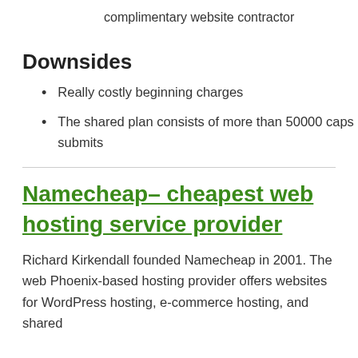complimentary website contractor
Downsides
Really costly beginning charges
The shared plan consists of more than 50000 caps submits
Namecheap– cheapest web hosting service provider
Richard Kirkendall founded Namecheap in 2001. The web Phoenix-based hosting provider offers websites for WordPress hosting, e-commerce hosting, and shared hosting,